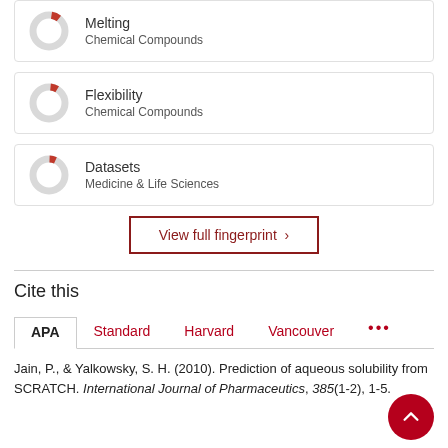[Figure (donut-chart): Small donut chart with red slice indicating partial percentage, labeled Melting / Chemical Compounds]
Melting
Chemical Compounds
[Figure (donut-chart): Small donut chart with red slice indicating partial percentage, labeled Flexibility / Chemical Compounds]
Flexibility
Chemical Compounds
[Figure (donut-chart): Small donut chart with red slice indicating partial percentage, labeled Datasets / Medicine & Life Sciences]
Datasets
Medicine & Life Sciences
View full fingerprint ›
Cite this
APA  Standard  Harvard  Vancouver  •••
Jain, P., & Yalkowsky, S. H. (2010). Prediction of aqueous solubility from SCRATCH. International Journal of Pharmaceutics, 385(1-2), 1-5.